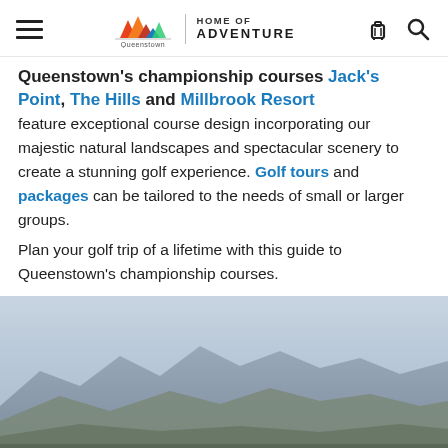Queenstown Home of Adventure — navigation header with hamburger menu, logo, luggage and search icons
Queenstown's championship courses Jack's Point, The Hills and Millbrook Resort feature exceptional course design incorporating our majestic natural landscapes and spectacular scenery to create a stunning golf experience. Golf tours and packages can be tailored to the needs of small or larger groups.
Plan your golf trip of a lifetime with this guide to Queenstown's championship courses.
[Figure (photo): Landscape photo showing mountain ranges under a hazy blue-grey sky, with hills and terrain visible at the bottom of the frame — a scenic golf course backdrop in Queenstown, New Zealand.]